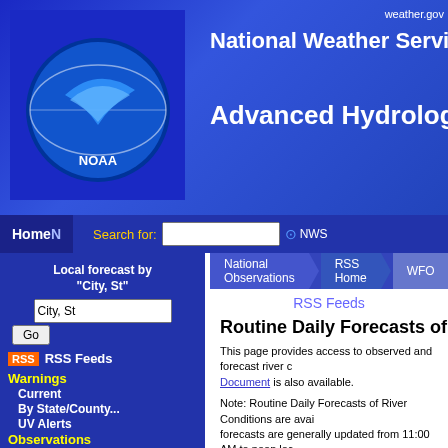weather.gov — National Weather Service — Advanced Hydrologic Prediction
[Figure (logo): NOAA circular logo with globe and text]
Local forecast by "City, St"
Home | National Observations | RSS Home | WFO navigation
RSS Feeds
Routine Daily Forecasts of River Cond...
This page provides access to observed and forecast river conditions. A Document is also available.
Note: Routine Daily Forecasts of River Conditions are available... forecasts are generally updated from 11:00 AM to noon local... River Basin Commission.
To subscribe to one of our RSS feeds below, copy the URL... aggregator (usually as an "add feed" option).
Indiana WFOs
Indianapolis, IN (IND)
Northern Indiana, IN (IWX)